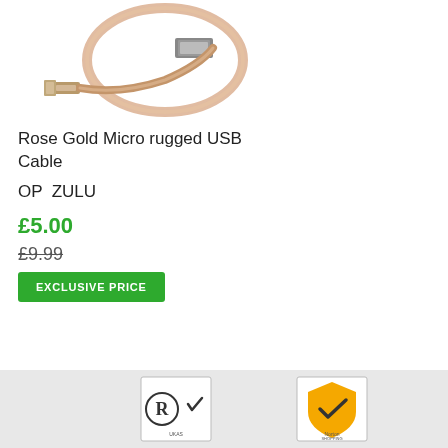[Figure (photo): Rose gold braided micro USB cable coiled, showing both connectors (micro USB and standard USB type-A), partially cropped at top]
Rose Gold Micro rugged USB Cable
OP  ZULU
£5.00
£9.99
EXCLUSIVE PRICE
[Figure (logo): Certification badge with R logo and checkmark symbol, UKAS accreditation mark]
[Figure (logo): Norton Shopping guarantee badge with yellow shield and checkmark]